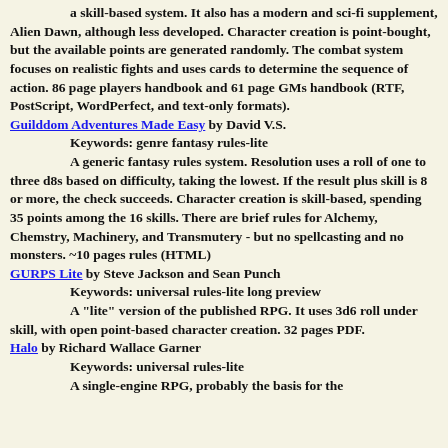a skill-based system. It also has a modern and sci-fi supplement, Alien Dawn, although less developed. Character creation is point-bought, but the available points are generated randomly. The combat system focuses on realistic fights and uses cards to determine the sequence of action. 86 page players handbook and 61 page GMs handbook (RTF, PostScript, WordPerfect, and text-only formats).
Guilddom Adventures Made Easy by David V.S.
Keywords: genre fantasy rules-lite
A generic fantasy rules system. Resolution uses a roll of one to three d8s based on difficulty, taking the lowest. If the result plus skill is 8 or more, the check succeeds. Character creation is skill-based, spending 35 points among the 16 skills. There are brief rules for Alchemy, Chemstry, Machinery, and Transmutery - but no spellcasting and no monsters. ~10 pages rules (HTML)
GURPS Lite by Steve Jackson and Sean Punch
Keywords: universal rules-lite long preview
A "lite" version of the published RPG. It uses 3d6 roll under skill, with open point-based character creation. 32 pages PDF.
Halo by Richard Wallace Garner
Keywords: universal rules-lite
A single-engine RPG, probably the basis for the